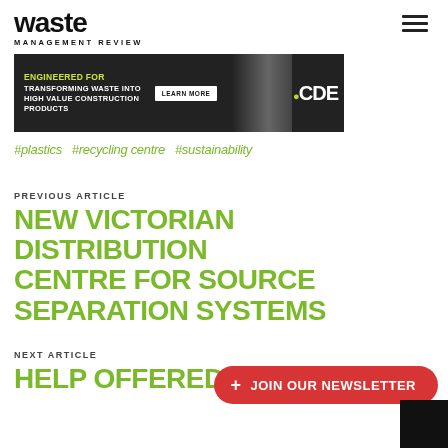waste MANAGEMENT REVIEW
[Figure (infographic): CDE banner advertisement: ENGINEERED FOR TRANSFORMING WASTE INTO HIGH VALUE CONSTRUCTION PRODUCTS with LEARN MORE button and CDE logo, dark background with worker in hi-vis]
#plastics  #recycling centre  #sustainability
PREVIOUS ARTICLE
NEW VICTORIAN DISTRIBUTION CENTRE FOR SOURCE SEPARATION SYSTEMS
NEXT ARTICLE
HELP OFFERED FOR WA
+ JOIN OUR NEWSLETTER